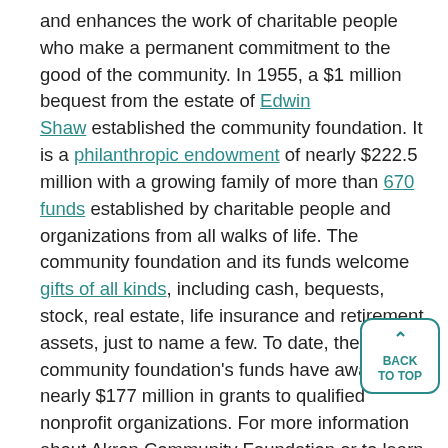and enhances the work of charitable people who make a permanent commitment to the good of the community. In 1955, a $1 million bequest from the estate of Edwin Shaw established the community foundation. It is a philanthropic endowment of nearly $222.5 million with a growing family of more than 670 funds established by charitable people and organizations from all walks of life. The community foundation and its funds welcome gifts of all kinds, including cash, bequests, stock, real estate, life insurance and retirement assets, just to name a few. To date, the community foundation's funds have awarded nearly $177 million in grants to qualified nonprofit organizations. For more information about Akron Community Foundation or to learn more about creating your own charitable fund, call 330-376-8522 or visit www.akroncf.org.